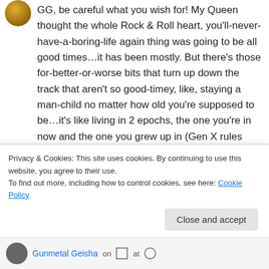[Figure (photo): User avatar thumbnail, circular, golden/brown tones]
GG, be careful what you wish for! My Queen thought the whole Rock & Roll heart, you'll-never-have-a-boring-life again thing was going to be all good times…it has been mostly. But there's those for-better-or-worse bits that turn up down the track that aren't so good-timey, like, staying a man-child no matter how old you're supposed to be…it's like living in 2 epochs, the one you're in now and the one you grew up in (Gen X rules Baby, yeay!) So, anyway, good luck
Privacy & Cookies: This site uses cookies. By continuing to use this website, you agree to their use.
To find out more, including how to control cookies, see here: Cookie Policy
Close and accept
Gunmetal Geisha on ⊙ at ⊙